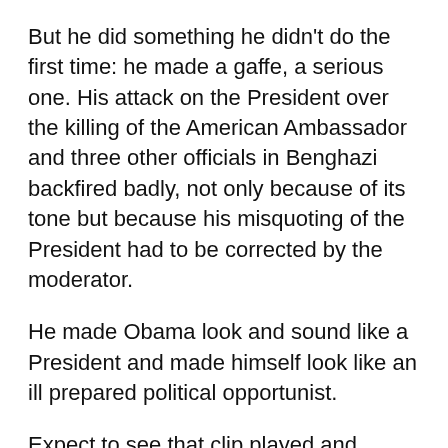But he did something he didn't do the first time: he made a gaffe, a serious one. His attack on the President over the killing of the American Ambassador and three other officials in Benghazi backfired badly, not only because of its tone but because his misquoting of the President had to be corrected by the moderator.
He made Obama look and sound like a President and made himself look like an ill prepared political opportunist.
Expect to see that clip played and replayed on TV and the internet right up to the final debate on foreign policy next Monday.
In the first debate we saw the enthusiastic challenger and the tired incumbent. In the second we saw the passionate President versus the wealthy businessman.